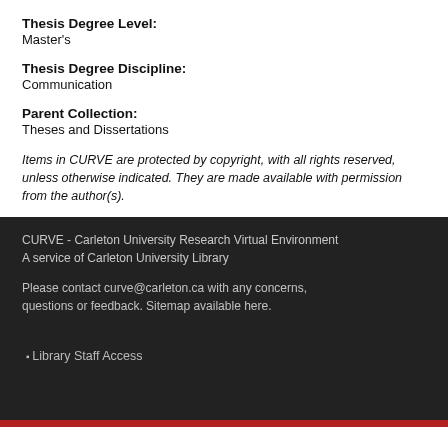Thesis Degree Level:
Master's
Thesis Degree Discipline:
Communication
Parent Collection:
Theses and Dissertations
Items in CURVE are protected by copyright, with all rights reserved, unless otherwise indicated. They are made available with permission from the author(s).
CURVE - Carleton University Research Virtual Environment
A service of Carleton University Library

Please contact curve@carleton.ca with any concerns, questions or feedback. Sitemap available here.
Library Staff Access